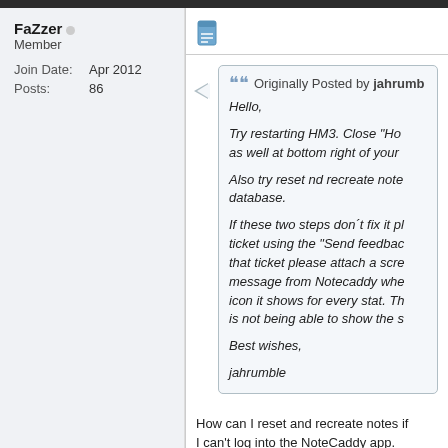FaZzer
Member
Join Date: Apr 2012
Posts: 86
[Figure (screenshot): Document/post icon in blue]
Originally Posted by jahrumble
Hello,

Try restarting HM3. Close "Ho... as well at bottom right of your...

Also try reset nd recreate note... database.

If these two steps don't fix it pl... ticket using the "Send feedbac... that ticket please attach a scre... message from Notecaddy whe... icon it shows for every stat. Th... is not being able to show the s...

Best wishes,

jahrumble
How can I reset and recreate notes if I can't log into the NoteCaddy app.
Missing NoteCaddy app